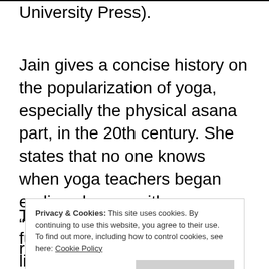University Press).
Jain gives a concise history on the popularization of yoga, especially the physical asana part, in the 20th century. She states that no one knows when yoga teachers began ending classes with “namaste.”
Today, she says, “namaste” functions as a
Privacy & Cookies: This site uses cookies. By continuing to use this website, you agree to their use.
To find out more, including how to control cookies, see here: Cookie Policy
lineage, giving “yoga practitioners a real sense